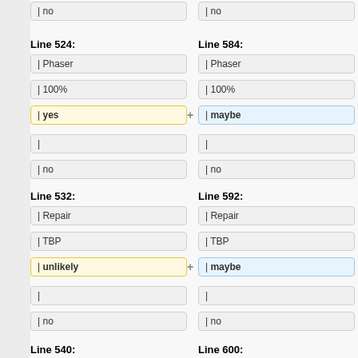| no
| no
Line 524:
Line 584:
| Phaser
| Phaser
| 100%
| 100%
| yes
| maybe
|
|
| no
| no
Line 532:
Line 592:
| Repair
| Repair
| TBP
| TBP
| unlikely
| maybe
|
|
| no
| no
Line 540:
Line 600: